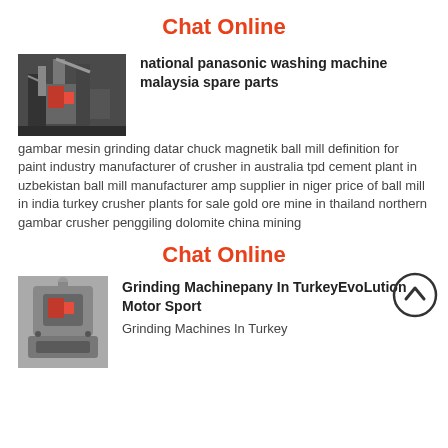Chat Online
[Figure (photo): Industrial machinery, grinding/milling equipment in a factory setting]
national panasonic washing machine malaysia spare parts
gambar mesin grinding datar chuck magnetik ball mill definition for paint industry manufacturer of crusher in australia tpd cement plant in uzbekistan ball mill manufacturer amp supplier in niger price of ball mill in india turkey crusher plants for sale gold ore mine in thailand northern gambar crusher penggiling dolomite china mining
Chat Online
[Figure (photo): Grinding machine equipment, metallic industrial grinder]
Grinding Machinepany In TurkeyEvoLution Motor Sport
Grinding Machines In Turkey